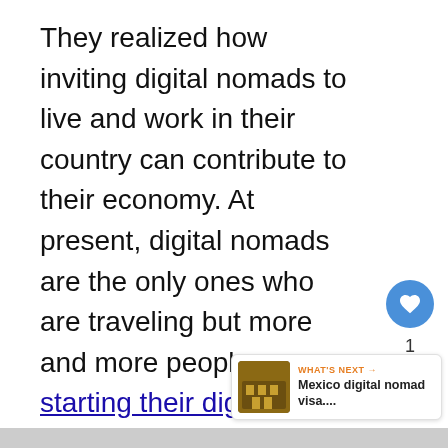They realized how inviting digital nomads to live and work in their country can contribute to their economy. At present, digital nomads are the only ones who are traveling but more and more people are starting their digital nomad careers.